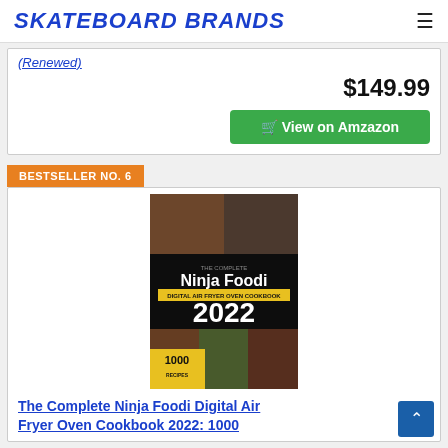SKATEBOARD BRANDS
(Renewed)
$149.99
View on Amzazon
BESTSELLER NO. 6
[Figure (photo): Book cover: The Complete Ninja Foodi Digital Air Fryer Oven Cookbook 2022, 1000 Recipes]
The Complete Ninja Foodi Digital Air Fryer Oven Cookbook 2022: 1000